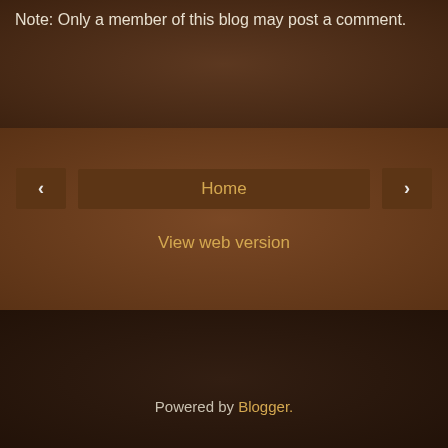Note: Only a member of this blog may post a comment.
‹
Home
›
View web version
Powered by Blogger.